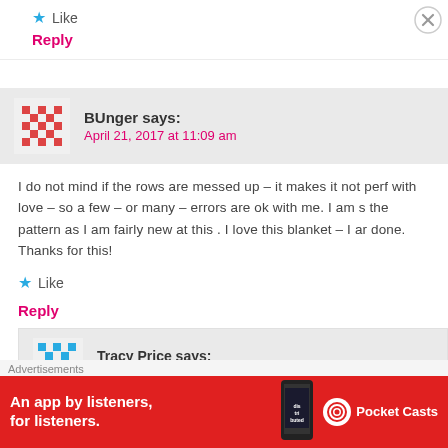Like
Reply
BUnger says:
April 21, 2017 at 11:09 am
I do not mind if the rows are messed up – it makes it not perf with love – so a few – or many – errors are ok with me. I am s the pattern as I am fairly new at this . I love this blanket – I ar done. Thanks for this!
Like
Reply
Tracy Price says:
May 28, 2017 at 2:00 am
Advertisements
[Figure (infographic): Pocket Casts advertisement banner: red background, text 'An app by listeners, for listeners.' with phone image and Pocket Casts logo]